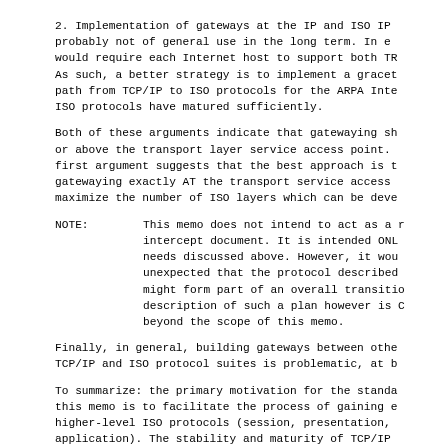2.  Implementation of gateways at the IP and ISO IP probably not of general use in the long term.  In e would require each Internet host to support both TR As such, a better strategy is to implement a gracet path from TCP/IP to ISO protocols for the ARPA Inte ISO protocols have matured sufficiently.
Both of these arguments indicate that gatewaying sh or above the transport layer service access point. first argument suggests that the best approach is t gatewaying exactly AT the transport service access maximize the number of ISO layers which can be deve
NOTE:   This memo does not intend to act as a r intercept document.  It is intended ONL needs discussed above.  However, it wou unexpected that the protocol described might form part of an overall transitio description of such a plan however is C beyond the scope of this memo.
Finally, in general, building gateways between othe TCP/IP and ISO protocol suites is problematic, at b
To summarize: the primary motivation for the standa this memo is to facilitate the process of gaining e higher-level ISO protocols (session, presentation, application). The stability and maturity of TCP/IP